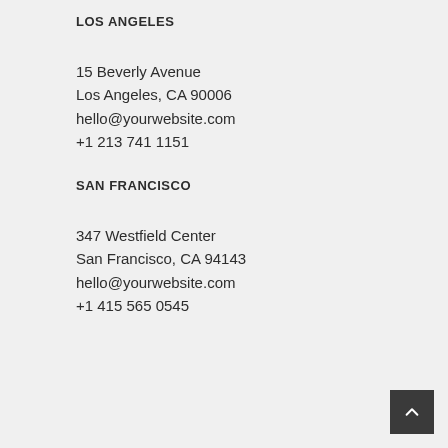LOS ANGELES
15 Beverly Avenue
Los Angeles, CA 90006
hello@yourwebsite.com
+1 213 741 1151
SAN FRANCISCO
347 Westfield Center
San Francisco, CA 94143
hello@yourwebsite.com
+1 415 565 0545